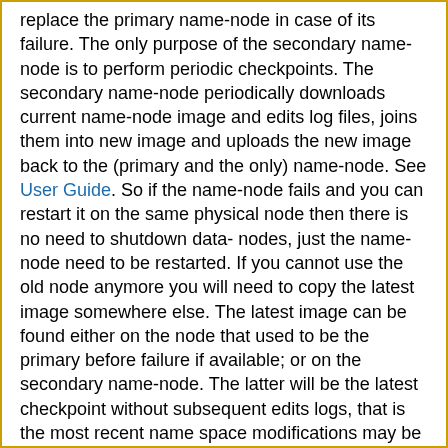replace the primary name-node in case of its failure. The only purpose of the secondary name-node is to perform periodic checkpoints. The secondary name-node periodically downloads current name-node image and edits log files, joins them into new image and uploads the new image back to the (primary and the only) name-node. See User Guide. So if the name-node fails and you can restart it on the same physical node then there is no need to shutdown data-nodes, just the name-node need to be restarted. If you cannot use the old node anymore you will need to copy the latest image somewhere else. The latest image can be found either on the node that used to be the primary before failure if available; or on the secondary name-node. The latter will be the latest checkpoint without subsequent edits logs, that is the most recent name space modifications may be missing there. You will also need to restart the whole cluster in this case.
3.3. Does the name-node stay in safe mode till all under-replicated files are fully replicated?
No. During safe mode replication of blocks is prohibited. The name-node awaits when all or majority of data-nodes report their blocks. Depending on how safe mode parameters are configured